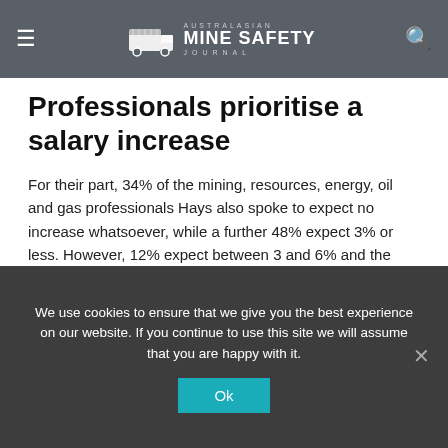Australasian Mine Safety Journal
Professionals prioritise a salary increase
For their part, 34% of the mining, resources, energy, oil and gas professionals Hays also spoke to expect no increase whatsoever, while a further 48% expect 3% or less. However, 12% expect between 3 and 6% and the final 6% expect a raise of 6% or more.
Privacy & Cookies: This site uses cookies. By continuing to use this
We use cookies to ensure that we give you the best experience on our website. If you continue to use this site we will assume that you are happy with it.